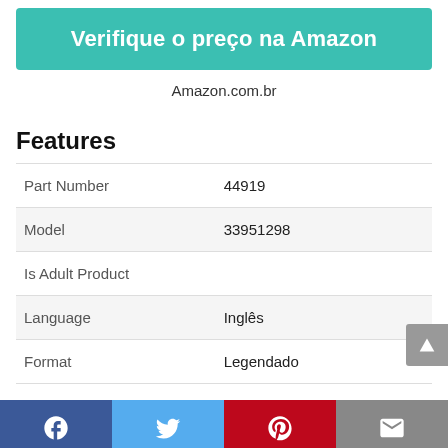[Figure (other): Teal/green button with text 'Verifique o preço na Amazon']
Amazon.com.br
Features
| Part Number | 44919 |
| Model | 33951298 |
| Is Adult Product |  |
| Language | Inglês |
| Format | Legendado |
[Figure (other): Social sharing bar with Facebook, Twitter, Pinterest, and Email icons]